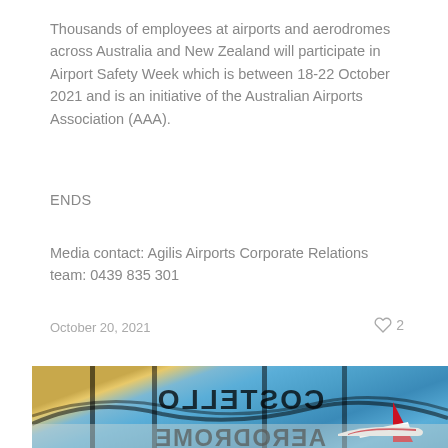Thousands of employees at airports and aerodromes across Australia and New Zealand will participate in Airport Safety Week which is between 18-22 October 2021 and is an initiative of the Australian Airports Association (AAA).
ENDS
Media contact: Agilis Airports Corporate Relations team: 0439 835 301
October 20, 2021
♡ 2
[Figure (photo): Exterior photo of an airport terminal building with glass facade reflecting sky and planes, with reversed lettering visible through the glass. A Virgin Australia aircraft tail is visible in the lower right.]